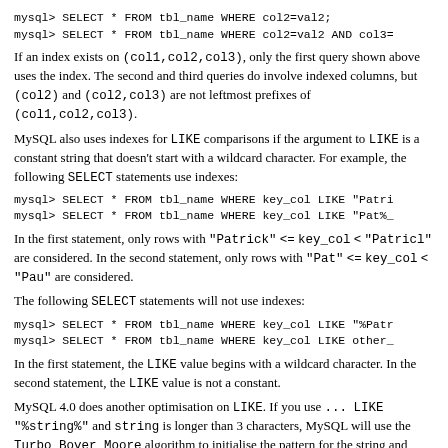mysql> SELECT * FROM tbl_name WHERE col2=val2;
mysql> SELECT * FROM tbl_name WHERE col2=val2 AND col3=
If an index exists on (col1,col2,col3), only the first query shown above uses the index. The second and third queries do involve indexed columns, but (col2) and (col2,col3) are not leftmost prefixes of (col1,col2,col3).
MySQL also uses indexes for LIKE comparisons if the argument to LIKE is a constant string that doesn't start with a wildcard character. For example, the following SELECT statements use indexes:
mysql> SELECT * FROM tbl_name WHERE key_col LIKE "Patri
mysql> SELECT * FROM tbl_name WHERE key_col LIKE "Pat%_
In the first statement, only rows with "Patrick" <= key_col < "Patricl" are considered. In the second statement, only rows with "Pat" <= key_col < "Pau" are considered.
The following SELECT statements will not use indexes:
mysql> SELECT * FROM tbl_name WHERE key_col LIKE "%Patr
mysql> SELECT * FROM tbl_name WHERE key_col LIKE other_
In the first statement, the LIKE value begins with a wildcard character. In the second statement, the LIKE value is not a constant.
MySQL 4.0 does another optimisation on LIKE. If you use ... LIKE "%string%" and string is longer than 3 characters, MySQL will use the Turbo_Boyer_Moore algorithm to initialise the pattern for the string and